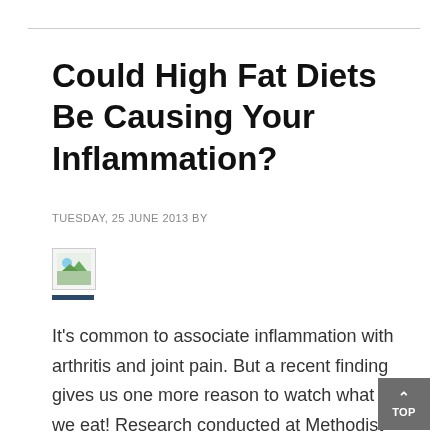Could High Fat Diets Be Causing Your Inflammation?
TUESDAY, 25 JUNE 2013 BY
[Figure (photo): Small thumbnail image with a landscape/nature photo]
It's common to associate inflammation with arthritis and joint pain. But a recent finding gives us one more reason to watch what we eat! Research conducted at Methodist Hospital in Houston found that fat triggering...